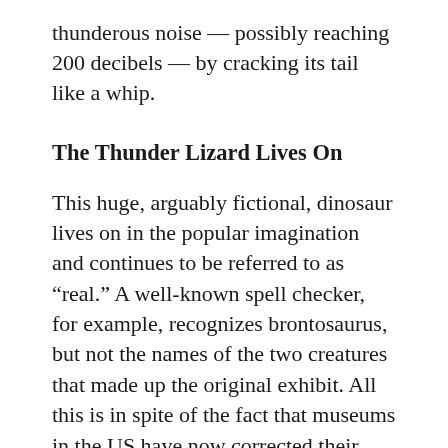thunderous noise — possibly reaching 200 decibels — by cracking its tail like a whip.
The Thunder Lizard Lives On
This huge, arguably fictional, dinosaur lives on in the popular imagination and continues to be referred to as “real.” A well-known spell checker, for example, recognizes brontosaurus, but not the names of the two creatures that made up the original exhibit. All this is in spite of the fact that museums in the US have now corrected their displays.